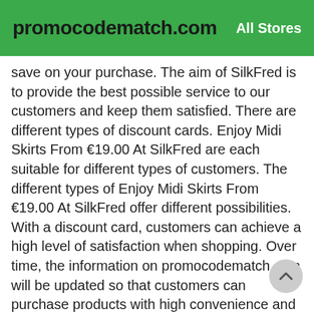promocodematch.com — All Stores
save on your purchase. The aim of SilkFred is to provide the best possible service to our customers and keep them satisfied. There are different types of discount cards. Enjoy Midi Skirts From €19.00 At SilkFred are each suitable for different types of customers. The different types of Enjoy Midi Skirts From €19.00 At SilkFred offer different possibilities. With a discount card, customers can achieve a high level of satisfaction when shopping. Over time, the information on promocodematch.com will be updated so that customers can purchase products with high convenience and at Coupons prices. If you have selected some products or like a certain type. You can easily shop with a discount card. Enjoy Midi Skirts From €19.00 At SilkFred offers several price reductions to its customers. Customers can be satisfied with their online purchases. Welcome to shop with discount card. Enjoy Midi Skirts From €19.00 At SilkFred is always at the